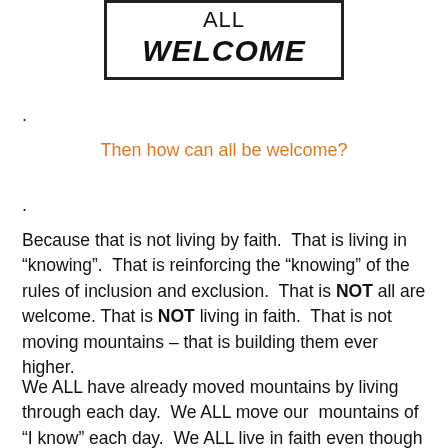[Figure (other): Sign box with text 'ALL' on top line and 'WELCOME' in large bold italic below, surrounded by a rectangular border]
.
Then how can all be welcome?
.
Because that is not living by faith.  That is living in “knowing”.  That is reinforcing the “knowing” of the rules of inclusion and exclusion.  That is NOT all are welcome.  That is NOT living in faith.  That is not moving mountains – that is building them ever higher.
We ALL have already moved mountains by living through each day.  We ALL move our  mountains of “I know” each day.  We ALL live in faith even though we ALL say we